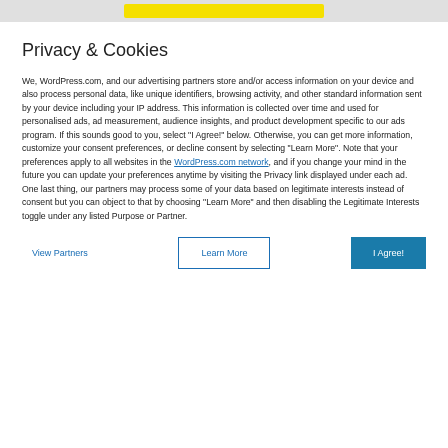Privacy & Cookies
We, WordPress.com, and our advertising partners store and/or access information on your device and also process personal data, like unique identifiers, browsing activity, and other standard information sent by your device including your IP address. This information is collected over time and used for personalised ads, ad measurement, audience insights, and product development specific to our ads program. If this sounds good to you, select "I Agree!" below. Otherwise, you can get more information, customize your consent preferences, or decline consent by selecting "Learn More". Note that your preferences apply to all websites in the WordPress.com network, and if you change your mind in the future you can update your preferences anytime by visiting the Privacy link displayed under each ad. One last thing, our partners may process some of your data based on legitimate interests instead of consent but you can object to that by choosing "Learn More" and then disabling the Legitimate Interests toggle under any listed Purpose or Partner.
View Partners | Learn More | I Agree!